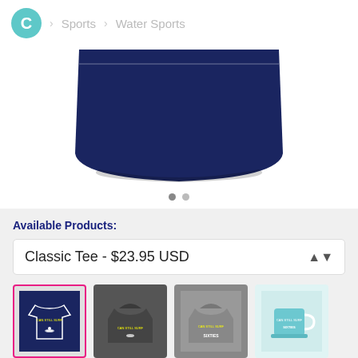C > Sports > Water Sports
[Figure (photo): Navy blue t-shirt product image, showing bottom hem area with rounded shape on white background. Two navigation dots below.]
Available Products:
Classic Tee - $23.95 USD
[Figure (photo): Row of four product thumbnails: navy t-shirt (selected, pink border), dark hoodie back, grey hoodie back labeled SIXTIES, light blue mug.]
Description:
Classic fit, unisex
Show More Details ∨